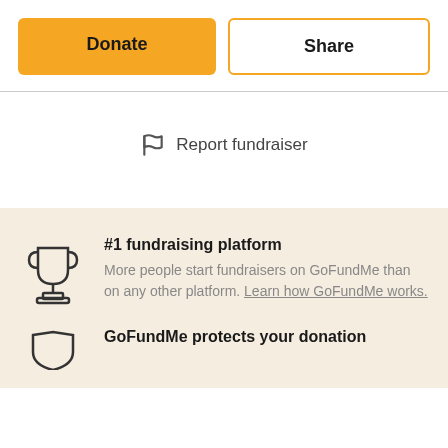[Figure (other): Donate and Share buttons]
Report fundraiser
#1 fundraising platform
More people start fundraisers on GoFundMe than on any other platform. Learn how GoFundMe works.
GoFundMe protects your donation